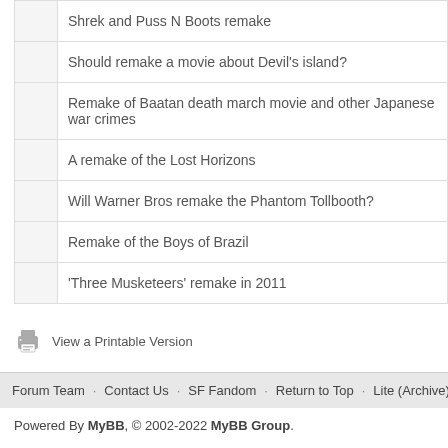Shrek and Puss N Boots remake
Should remake a movie about Devil's island?
Remake of Baatan death march movie and other Japanese war crimes
A remake of the Lost Horizons
Will Warner Bros remake the Phantom Tollbooth?
Remake of the Boys of Brazil
'Three Musketeers' remake in 2011
View a Printable Version
Forum Team   Contact Us   SF Fandom   Return to Top   Lite (Archive) Mode
Powered By MyBB, © 2002-2022 MyBB Group.